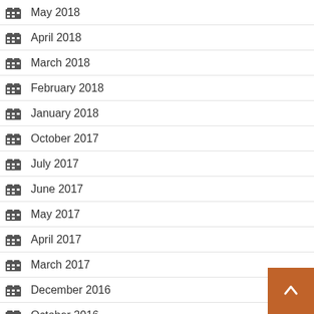May 2018
April 2018
March 2018
February 2018
January 2018
October 2017
July 2017
June 2017
May 2017
April 2017
March 2017
December 2016
October 2016